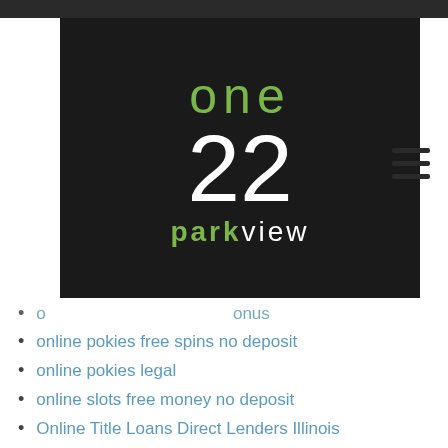[Figure (logo): One22 Parkview logo on dark background with green 'one' text, white '22' numeral, and green/white 'parkview' text]
online pokies no deposit bonus (partially obscured)
online pokies free spins no deposit
online pokies legal
online slots free money no deposit
Online Title Loans Direct Lenders Illinois
online wreting paper services
Online Writing Helpers
Order Essay
paki marriage
Paper Writer
paper writers